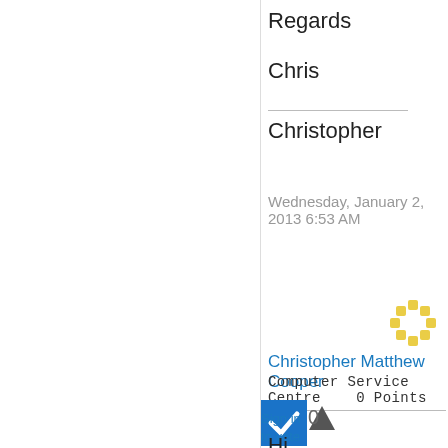Regards
Chris
Christopher
Wednesday, January 2, 2013 6:53 AM
[Figure (logo): Yellow decorative flower/pinwheel logo icon]
Christopher Matthew Cooper
Computer Service Centre    0 Points
[Figure (other): Blue checkbox with white checkmark]
[Figure (other): Dark grey upward triangle/arrow icon for voting up]
0
Sign in to vote
Hi,